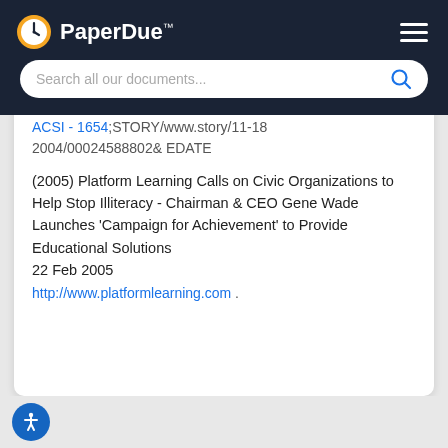PaperDue™
ACSI - 1654;STORY/www.story/11-18 2004/00024588802& EDATE
(2005) Platform Learning Calls on Civic Organizations to Help Stop Illiteracy - Chairman & CEO Gene Wade Launches 'Campaign for Achievement' to Provide Educational Solutions
22 Feb 2005
http://www.platformlearning.com .